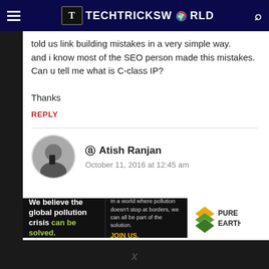TECHTRICKSWORLD
told us link building mistakes in a very simple way.
and i know most of the SEO person made this mistakes.
Can u tell me what is C-class IP?

Thanks
REPLY
Atish Ranjan
October 11, 2016 at 12:45 am
[Figure (other): Pure Earth advertisement banner: 'We believe the global pollution crisis can be solved. In a world where pollution doesn't stop at borders, we can all be part of the solution. JOIN US.' with Pure Earth diamond logo]